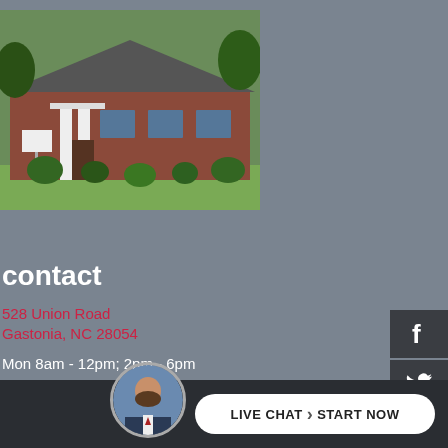[Figure (photo): Exterior photo of a brick building with columns, green bushes, and trees in background — a chiropractic or medical office at 528 Union Road, Gastonia NC]
contact
528 Union Road
Gastonia, NC 28054
Mon 8am - 12pm; 2pm - 6pm
Tues: 2pm - 6pm
Wed: 8am - 12pm; 2pm - 5pm
Thurs 8am - 12pm; 2pm - 6pm
Fri: 8am - 12pm
Sat: 8am - ...by ...
[Figure (screenshot): Live chat widget with an avatar photo of a bearded man in a suit, and a white pill-shaped button reading LIVE CHAT > START NOW on a dark background bar]